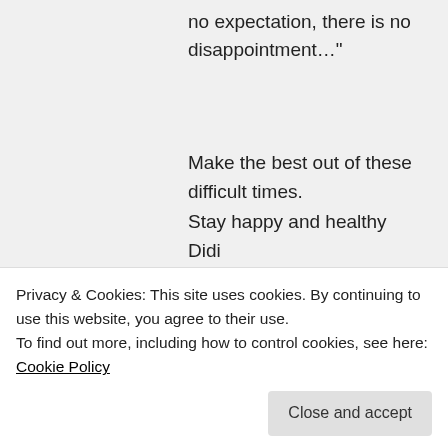no expectation, there is no disappointment…"
Make the best out of these difficult times.
Stay happy and healthy
Didi
Liked by 1 person
Log in to Reply
Arasha on 10/05/2020 at 16:18
Stay blessed
Privacy & Cookies: This site uses cookies. By continuing to use this website, you agree to their use.
To find out more, including how to control cookies, see here: Cookie Policy
Close and accept